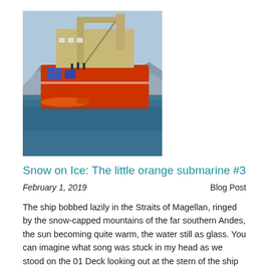[Figure (photo): An orange research/survey ship photographed from the water level. The vessel has a large crane structure on its deck and is painted orange on the hull. People are visible on deck. A small orange object (submarine/AUV) is visible in the water in the foreground. Mountains are visible in the background.]
Snow on Ice: The little orange submarine #3
February 1, 2019
Blog Post
The ship bobbed lazily in the Straits of Magellan, ringed by the snow-capped mountains of the far southern Andes, the sun becoming quite warm, the water still as glass. You can imagine what song was stuck in my head as we stood on the 01 Deck looking out at the stern of the ship where the HUGIN Autonomous Underwater Vehicle (AUV) sat waiting to be deployed. It is an orange, not yellow, torpedo-shaped submarine, and unlike the one from the famous Beatles